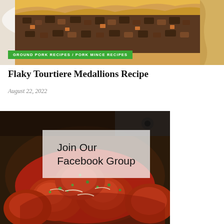[Figure (photo): Close-up photo of a slice of tourtiere (meat pie) with flaky pastry crust showing ground meat filling with vegetables]
GROUND PORK RECIPES / PORK MINCE RECIPES
Flaky Tourtiere Medallions Recipe
August 22, 2022
[Figure (photo): Photo of meatballs in red tomato sauce garnished with fresh herbs and grated cheese, with a semi-transparent white overlay box containing text 'Join Our Facebook Group']